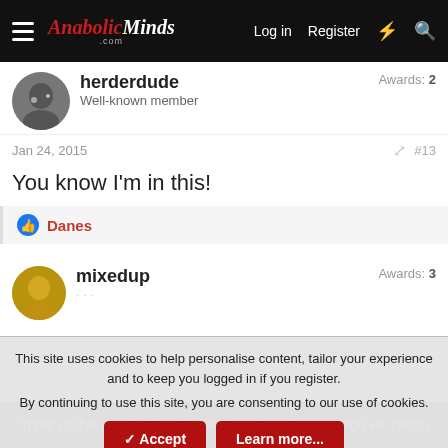AnabolicMinds.com | Log in | Register
herderdude | Awards: 2 | Well-known member
Jan 24, 2015 | #13
You know I'm in this!
Danes
mixedup | Awards: 3
This site uses cookies to help personalise content, tailor your experience and to keep you logged in if you register.
By continuing to use this site, you are consenting to our use of cookies.
Accept | Learn more...
Topic of the Week: The Single Best Supplement You've Taken